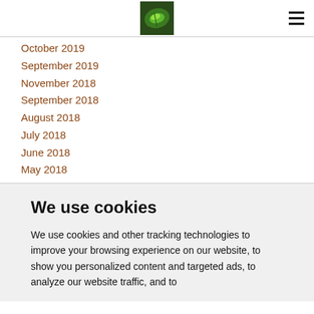[Logo image] [Hamburger menu]
October 2019
September 2019
November 2018
September 2018
August 2018
July 2018
June 2018
May 2018
We use cookies
We use cookies and other tracking technologies to improve your browsing experience on our website, to show you personalized content and targeted ads, to analyze our website traffic, and to